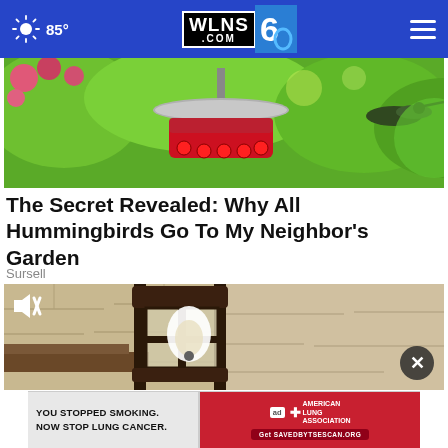WLNS 6 .COM | 85° | Navigation
[Figure (photo): Hummingbird feeder with red flowers and green foliage background, hummingbirds feeding]
The Secret Revealed: Why All Hummingbirds Go To My Neighbor's Garden
Sursell
[Figure (photo): Video player showing a dark lantern/outdoor light fixture mounted on a stone wall, with a mute icon in the top left and a close button in the bottom right]
[Figure (photo): Advertisement banner: YOU STOPPED SMOKING. NOW STOP LUNG CANCER. American Lung Association ad with Get SAVEDBYTSESCAN.ORG call to action button]